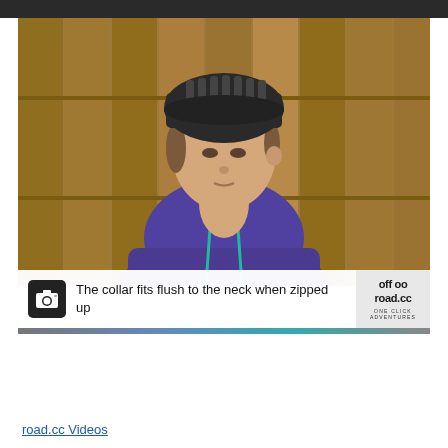[Figure (photo): Woman wearing a black cycling helmet and purple/blue hooded jacket with teal drawstrings, standing in front of a wooden fence. A caption bar overlays the bottom of the image reading 'The collar fits flush to the neck when zipped up' with a camera icon. The off-road.cc logo with 'ONE CLICK ADVENTURES' is visible in the bottom right of the image.]
The collar fits flush to the neck when zipped up
road.cc Videos